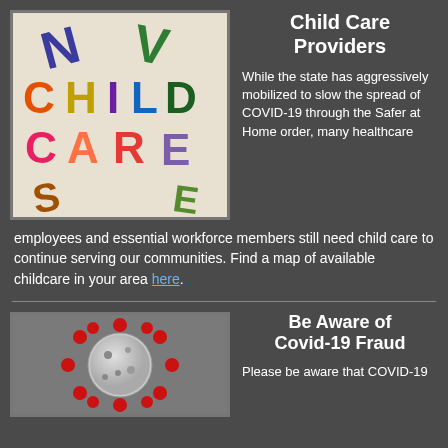[Figure (illustration): Colorful 3D plastic letter blocks spelling CHILD CARE on a light background]
Child Care Providers
While the state has aggressively mobilized to slow the spread of COVID-19 through the Safer at Home order, many healthcare employees and essential workforce members still need child care to continue serving our communities. Find a map of available childcare in your area here.
[Figure (illustration): 3D rendering of a red coronavirus particle on a grey background]
Be Aware of Covid-19 Fraud
Please be aware that COVID-19